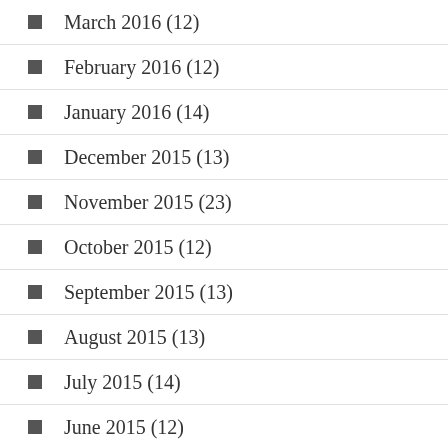March 2016 (12)
February 2016 (12)
January 2016 (14)
December 2015 (13)
November 2015 (23)
October 2015 (12)
September 2015 (13)
August 2015 (13)
July 2015 (14)
June 2015 (12)
May 2015 (14)
April 2015 (12)
March 2015 (…)